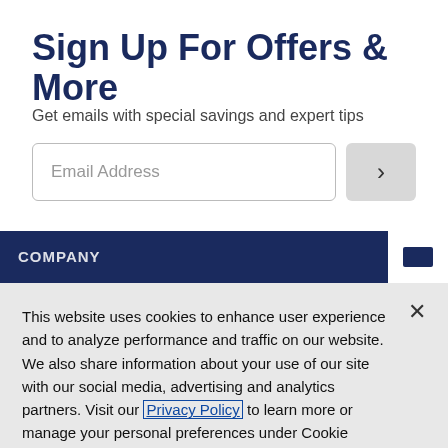Sign Up For Offers & More
Get emails with special savings and expert tips
Email Address
COMPANY
This website uses cookies to enhance user experience and to analyze performance and traffic on our website. We also share information about your use of our site with our social media, advertising and analytics partners. Visit our Privacy Policy to learn more or manage your personal preferences under Cookie Settings.
Cookie Settings
Accept Cookies